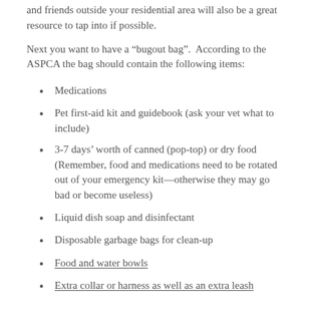and friends outside your residential area will also be a great resource to tap into if possible.
Next you want to have a “bugout bag”.  According to the ASPCA the bag should contain the following items:
Medications
Pet first-aid kit and guidebook (ask your vet what to include)
3-7 days’ worth of canned (pop-top) or dry food (Remember, food and medications need to be rotated out of your emergency kit—otherwise they may go bad or become useless)
Liquid dish soap and disinfectant
Disposable garbage bags for clean-up
Food and water bowls
Extra collar or harness as well as an extra leash